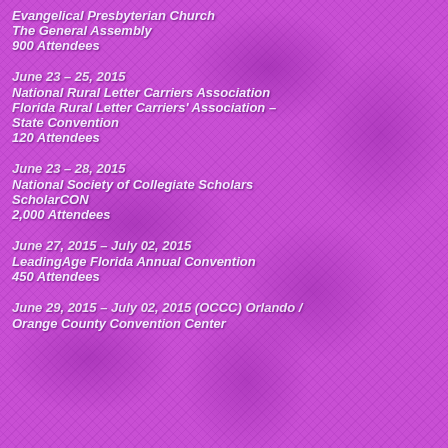Evangelical Presbyterian Church
The General Assembly
900 Attendees
June 23 – 25, 2015
National Rural Letter Carriers Association
Florida Rural Letter Carriers' Association – State Convention
120 Attendees
June 23 – 28, 2015
National Society of Collegiate Scholars
ScholarCON
2,000 Attendees
June 27, 2015 – July 02, 2015
LeadingAge Florida Annual Convention
450 Attendees
June 29, 2015 – July 02, 2015 (OCCC) Orlando / Orange County Convention Center